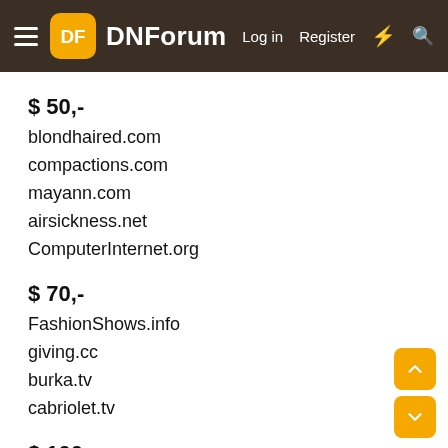DNForum
$ 50,-
blondhaired.com
compactions.com
mayann.com
airsickness.net
ComputerInternet.org
$ 70,-
FashionShows.info
giving.cc
burka.tv
cabriolet.tv
$ 100,-
cd04.com
Savannah.cc